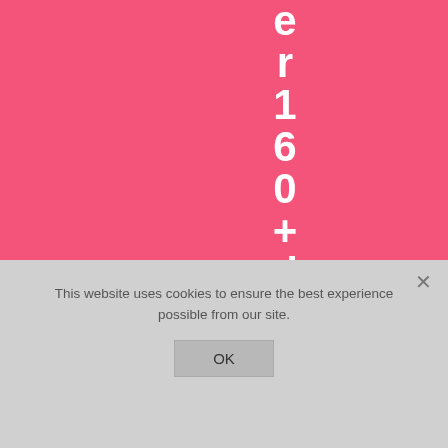[Figure (screenshot): Pink background with vertical white bold text spelling out 'er 160+ diffe' reading top to bottom. Left side has a social sharing sidebar showing 63 SHARES with Pinterest (red), Facebook (blue), and Email (green) buttons. Bottom portion shows a cookie consent overlay on grey background with text and OK button.]
63
SHARES
This website uses cookies to ensure the best experience possible from our site.
OK